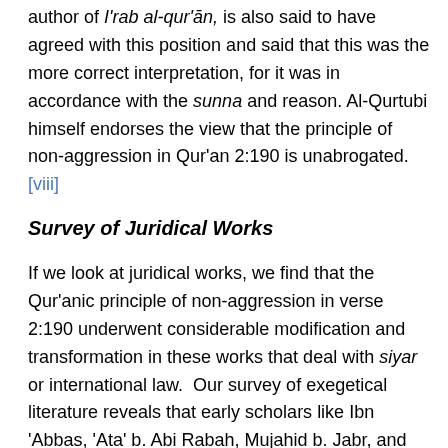author of I'rab al-qur'ān, is also said to have agreed with this position and said that this was the more correct interpretation, for it was in accordance with the sunna and reason. Al-Qurtubi himself endorses the view that the principle of non-aggression in Qur'an 2:190 is unabrogated.[viii]
Survey of Juridical Works
If we look at juridical works, we find that the Qur'anic principle of non-aggression in verse 2:190 underwent considerable modification and transformation in these works that deal with siyar or international law. Our survey of exegetical literature reveals that early scholars like Ibn 'Abbas, 'Ata' b. Abi Rabah, Mujahid b. Jabr, and Muqatil b. Sulayman, firmly maintained that Qur'an 2:190 unambiguously forbade the initiation of military hostilities. In contrast to these early scholars, jurists from the ninth